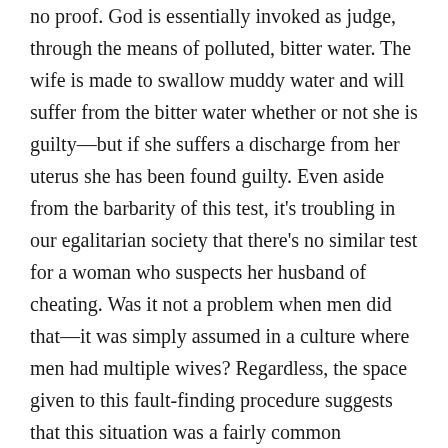no proof. God is essentially invoked as judge, through the means of polluted, bitter water. The wife is made to swallow muddy water and will suffer from the bitter water whether or not she is guilty—but if she suffers a discharge from her uterus she has been found guilty. Even aside from the barbarity of this test, it's troubling in our egalitarian society that there's no similar test for a woman who suspects her husband of cheating. Was it not a problem when men did that—it was simply assumed in a culture where men had multiple wives? Regardless, the space given to this fault-finding procedure suggests that this situation was a fairly common occurrence.

Numbers 6 concerns a class of people named